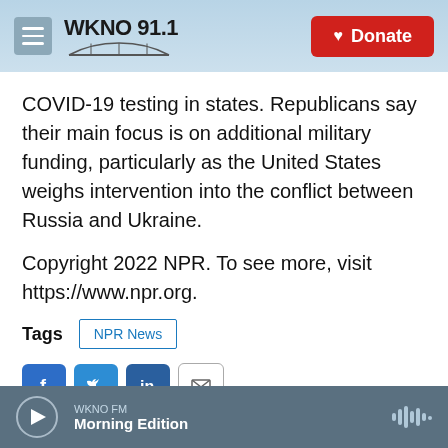WKNO 91.1 | Donate
COVID-19 testing in states. Republicans say their main focus is on additional military funding, particularly as the United States weighs intervention into the conflict between Russia and Ukraine.
Copyright 2022 NPR. To see more, visit https://www.npr.org.
Tags  NPR News
WKNO FM  Morning Edition